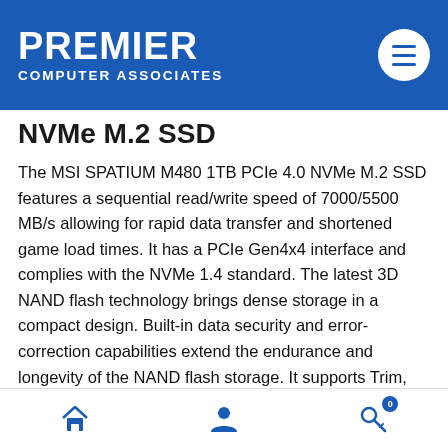PREMIER COMPUTER ASSOCIATES
NVMe M.2 SSD
The MSI SPATIUM M480 1TB PCIe 4.0 NVMe M.2 SSD features a sequential read/write speed of 7000/5500 MB/s allowing for rapid data transfer and shortened game load times. It has a PCIe Gen4x4 interface and complies with the NVMe 1.4 standard. The latest 3D NAND flash technology brings dense storage in a compact design. Built-in data security and error-correction capabilities extend the endurance and longevity of the NAND flash storage. It supports Trim, S.M.A.R.T., LDPC ECC, E2E Data Protection, and AES256 Encryption. The MSI SPATIUM M480 is suitable for both
Home | Account | Cart (0)